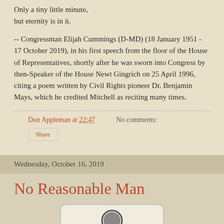Only a tiny little minute,
but eternity is in it.
-- Congressman Elijah Cummings (D-MD) (18 January 1951 - 17 October 2019), in his first speech from the floor of the House of Representatives, shortly after he was sworn into Congress by then-Speaker of the House Newt Gingrich on 25 April 1996, citing a poem written by Civil Rights pioneer Dr. Benjamin Mays, which he credited Mitchell as reciting many times.
Don Appleman at 22:47    No comments:
Share
Wednesday, October 16, 2019
No Reasonable Man
[Figure (illustration): Partial view of an image box with a circular graphic element, rounded rectangle border on light background]